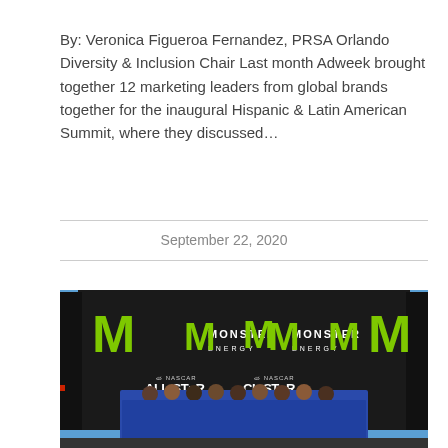By: Veronica Figueroa Fernandez, PRSA Orlando Diversity & Inclusion Chair Last month Adweek brought together 12 marketing leaders from global brands together for the inaugural Hispanic & Latin American Summit, where they discussed...
September 22, 2020
[Figure (photo): Group photo of approximately 25 people wearing blue uniforms standing in front of Monster Energy NASCAR All-Star Challenge backdrop with large Monster Energy logos.]